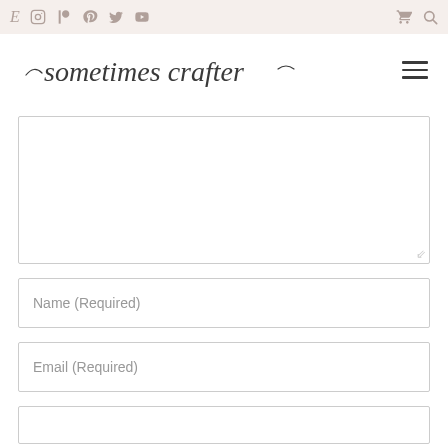Navigation bar with social icons: E, Instagram, Patreon, Pinterest, Twitter, YouTube, Cart, Search
[Figure (logo): Sometimes Crafter cursive script logo with decorative dashes on left and right]
Name (Required)
Email (Required)
(additional form field, empty)